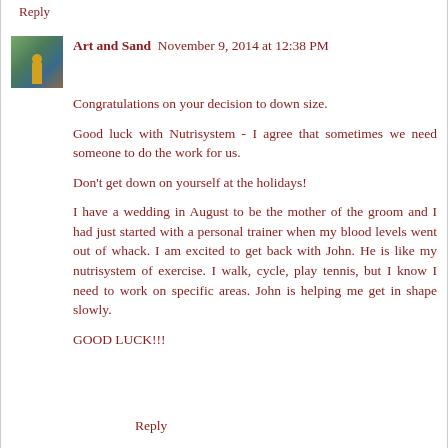Reply
Art and Sand  November 9, 2014 at 12:38 PM
Congratulations on your decision to down size.

Good luck with Nutrisystem - I agree that sometimes we need someone to do the work for us.

Don't get down on yourself at the holidays!

I have a wedding in August to be the mother of the groom and I had just started with a personal trainer when my blood levels went out of whack. I am excited to get back with John. He is like my nutrisystem of exercise. I walk, cycle, play tennis, but I know I need to work on specific areas. John is helping me get in shape slowly.

GOOD LUCK!!!
Reply